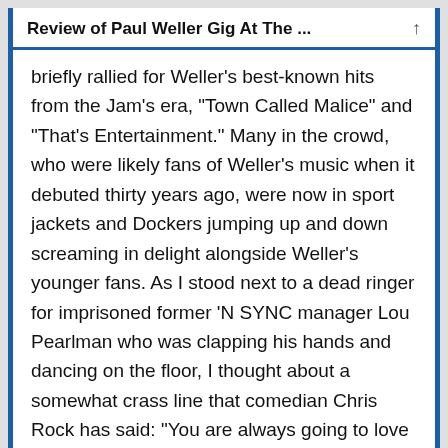Review of Paul Weller Gig At The ...
briefly rallied for Weller's best-known hits from the Jam's era, “Town Called Malice” and “That’s Entertainment.” Many in the crowd, who were likely fans of Weller’s music when it debuted thirty years ago, were now in sport jackets and Dockers jumping up and down screaming in delight alongside Weller’s younger fans. As I stood next to a dead ringer for imprisoned former ‘N SYNC manager Lou Pearlman who was clapping his hands and dancing on the floor, I thought about a somewhat crass line that comedian Chris Rock has said: “You are always going to love the music you were listening to when you first got laid.” It seemed like “Malice”